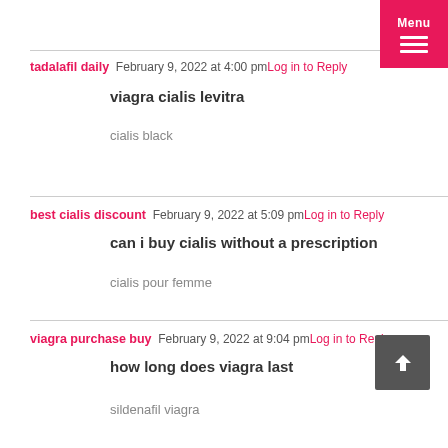Menu
tadalafil daily  February 9, 2022 at 4:00 pm  Log in to Reply
viagra cialis levitra
cialis black
best cialis discount  February 9, 2022 at 5:09 pm  Log in to Reply
can i buy cialis without a prescription
cialis pour femme
viagra purchase buy  February 9, 2022 at 9:04 pm  Log in to Reply
how long does viagra last
sildenafil viagra